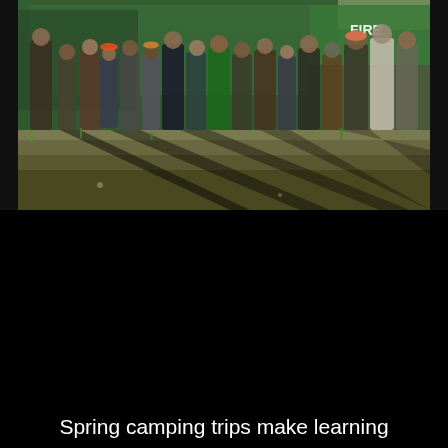[Figure (photo): Group photo of children and adults standing in front of a green government fire/ranger truck outdoors. The group includes many young children and several adults. The setting is a grassy/dirt outdoor area with trees in the background. Long shadows are cast on the ground in front of the group.]
Spring camping trips make learning